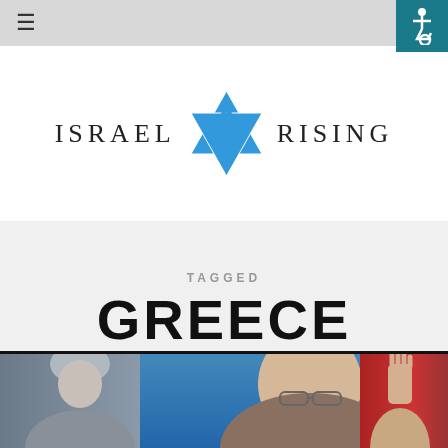≡ [navigation menu] [accessibility icon]
[Figure (logo): Israel Rising logo: text 'ISRAEL' on left, blue Star of David in center, text 'RISING' on right]
TAGGED
GREECE
[Figure (photo): Composite photo strip showing three men: a man on left with grey hair, a man in center wearing glasses, and a man on right with hand raised, in front of a red background]